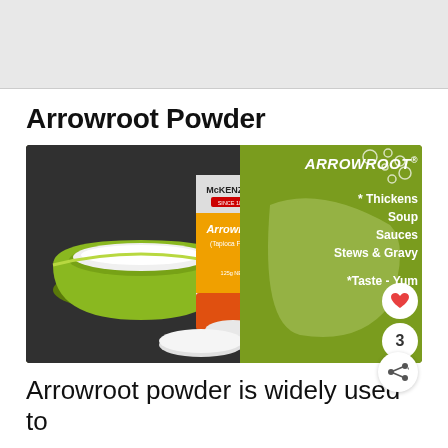[Figure (photo): Top banner image placeholder - light gray rectangle at top of page]
Arrowroot Powder
[Figure (photo): Composite image showing a green bowl filled with white arrowroot powder and a McKenzie's Arrowroot (Tapioca Flour) container on a dark countertop, alongside a green infographic panel reading ARROWROOT with bullet points: Thickens Soup Sauces Stews & Gravy, *Taste - Yum]
Arrowroot powder is widely used to